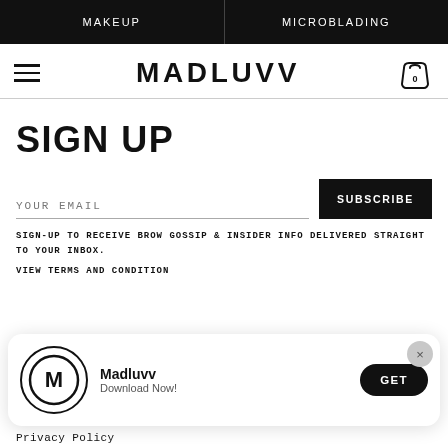MAKEUP | MICROBLADING
MADLUVV
SIGN UP
YOUR EMAIL
SUBSCRIBE
SIGN-UP TO RECEIVE BROW GOSSIP & INSIDER INFO DELIVERED STRAIGHT TO YOUR INBOX.
VIEW TERMS AND CONDITION
Madluvv
Download Now!
GET
Privacy Policy